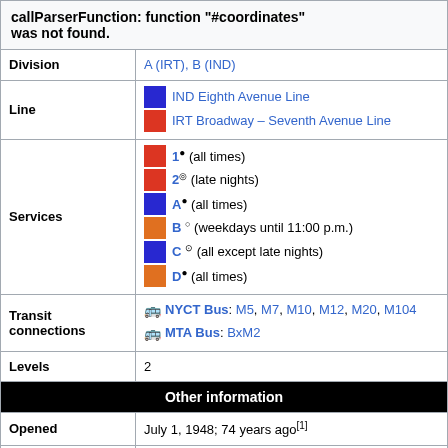callParserFunction: function "#coordinates" was not found.
| Field | Value |
| --- | --- |
| Division | A (IRT), B (IND) |
| Line | IND Eighth Avenue Line / IRT Broadway – Seventh Avenue Line |
| Services | 1 (all times) / 2 (late nights) / A (all times) / B (weekdays until 11:00 p.m.) / C (all except late nights) / D (all times) |
| Transit connections | NYCT Bus: M5, M7, M10, M12, M20, M104 / MTA Bus: BxM2 |
| Levels | 2 |
| Other information |  |
| Opened | July 1, 1948; 74 years ago[1] |
| Accessible |  |